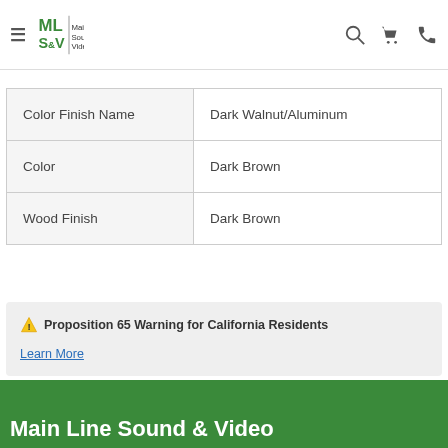Main Line Sound & Video
| Color Finish Name | Dark Walnut/Aluminum |
| Color | Dark Brown |
| Wood Finish | Dark Brown |
⚠ Proposition 65 Warning for California Residents
Learn More
Main Line Sound & Video